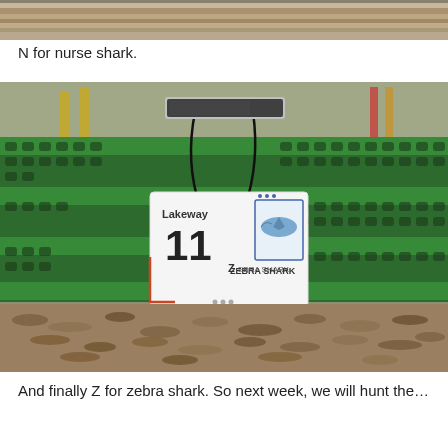[Figure (photo): Top cropped photo showing a wooden or metal surface, partial view of an outdoor scene.]
N for nurse shark.
[Figure (photo): Photo of a green metal bench outdoors with a laminated card hanging on it. The card shows number 11, the Lakeway logo, a picture of a shark, and the text 'Zebra Shark'. The ground is covered in dry leaves.]
And finally Z for zebra shark. So next week, we will hunt the…